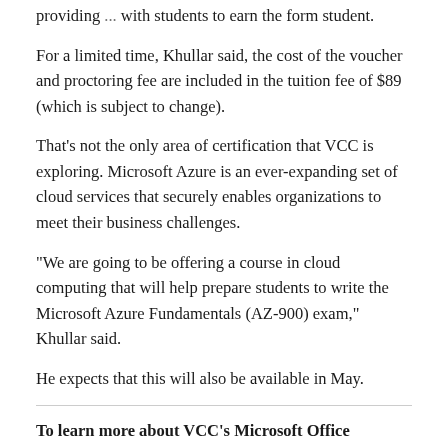providing VCC with students to earn the form student.
For a limited time, Khullar said, the cost of the voucher and proctoring fee are included in the tuition fee of $89 (which is subject to change).
That’s not the only area of certification that VCC is exploring. Microsoft Azure is an ever-expanding set of cloud services that securely enables organizations to meet their business challenges.
“We are going to be offering a course in cloud computing that will help prepare students to write the Microsoft Azure Fundamentals (AZ-900) exam,” Khullar said.
He expects that this will also be available in May.
To learn more about VCC’s Microsoft Office Specialist exam, visit the website.
Click here to report a typo.